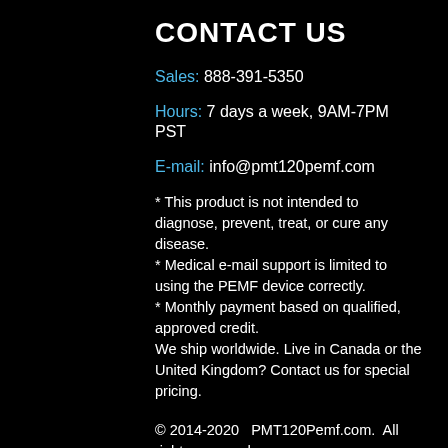CONTACT US
Sales: 888-391-5350
Hours: 7 days a week, 9AM-7PM PST
E-mail: info@pmt120pemf.com
* This product is not intended to diagnose, prevent, treat, or cure any disease.
* Medical e-mail support is limited to using the PEMF device correctly.
* Monthly payment based on qualified, approved credit.
We ship worldwide. Live in Canada or the United Kingdom? Contact us for special pricing.
© 2014-2020   PMT120Pemf.com.  All rights reserved